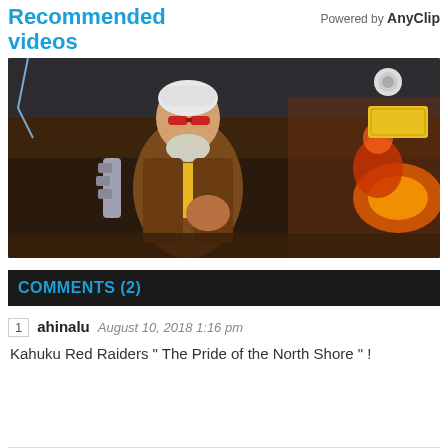Recommended videos
Powered by AnyClip
[Figure (screenshot): Animated game character screenshot — older man with white hair and red sunglasses, robotic arm, wearing brown jacket and yellow tie, action pose against colorful battle background]
COMMENTS (2)
1 ahinalu August 10, 2018 1:16 pm
Kahuku Red Raiders " The Pride of the North Shore " !